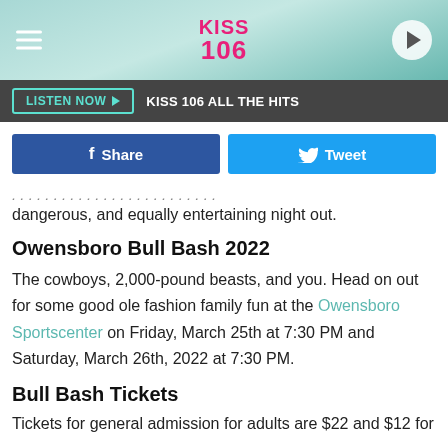KISS 106
LISTEN NOW ▶ KISS 106 ALL THE HITS
[Figure (screenshot): Facebook Share and Twitter Tweet social sharing buttons]
dangerous, and equally entertaining night out.
Owensboro Bull Bash 2022
The cowboys, 2,000-pound beasts, and you. Head on out for some good ole fashion family fun at the Owensboro Sportscenter on Friday, March 25th at 7:30 PM and Saturday, March 26th, 2022 at 7:30 PM.
Bull Bash Tickets
Tickets for general admission for adults are $22 and $12 for